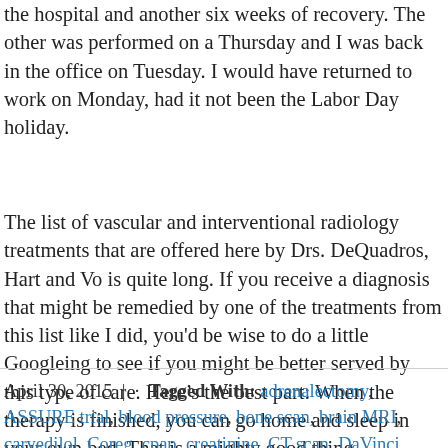the hospital and another six weeks of recovery. The other was performed on a Thursday and I was back in the office on Tuesday. I would have returned to work on Monday, had it not been the Labor Day holiday.
The list of vascular and interventional radiology treatments that are offered here by Drs. DeQuadros, Hart and Vo is quite long. If you receive a diagnosis that might be remedied by one of the treatments from this list like I did, you'd be wise to do a little Googleing to see if you might be better served by this type of care. Here's the best part: When the therapy is finished, you can go home and sleep in your own bed. That is a mighty good thing.
April 30, 2015  |  ·  Tagged With: adrenalectomy, ASSURE trial, blood pressure, bone scan, brain MRI, carvedilol, Coreg, cpap, creatinine, CT scan, DaVinci robotic surgery, Dena Battle, dilaudid, Dr. Andy Pippas, Dr. Andy Roddenberry, Dr. Dan George, Dr. Granville Batte,